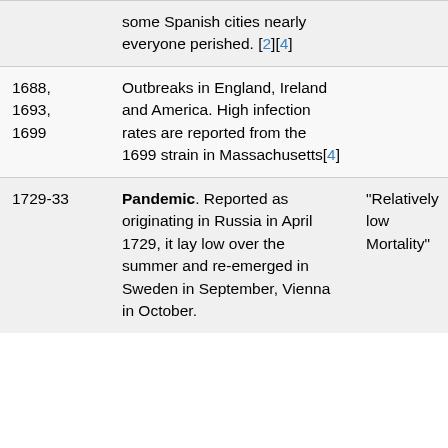| Date | Description | Notes |
| --- | --- | --- |
|  | some Spanish cities nearly everyone perished. [2][4] |  |
| 1688, 1693, 1699 | Outbreaks in England, Ireland and America. High infection rates are reported from the 1699 strain in Massachusetts[4] |  |
| 1729-33 | Pandemic. Reported as originating in Russia in April 1729, it lay low over the summer and re-emerged in Sweden in September, Vienna in October. | "Relatively low Mortality" |